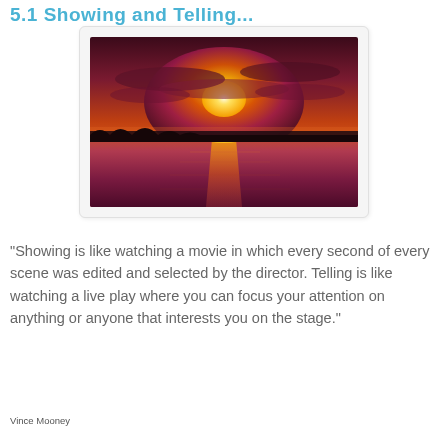5.1 Showing and Telling...
[Figure (photo): A dramatic sunset over a body of water with silhouetted treeline, deep orange and purple hues, reflection of sun on water surface.]
“Showing is like watching a movie in which every second of every scene was edited and selected by the director. Telling is like watching a live play where you can focus your attention on anything or anyone that interests you on the stage.”
Vince Mooney